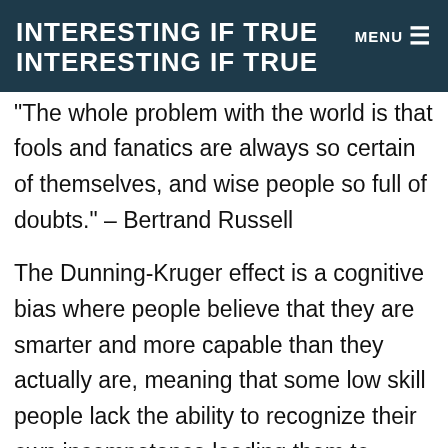INTERESTING IF TRUE INTERESTING IF TRUE MENU ≡
"The whole problem with the world is that fools and fanatics are always so certain of themselves, and wise people so full of doubts." – Bertrand Russell
The Dunning-Kruger effect is a cognitive bias where people believe that they are smarter and more capable than they actually are, meaning that some low skill people lack the ability to recognize their own incompetence leading them to overestimate their own